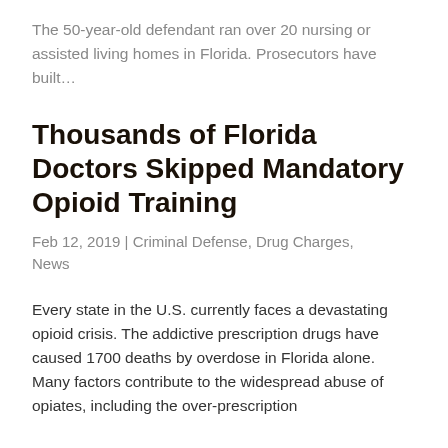The 50-year-old defendant ran over 20 nursing or assisted living homes in Florida. Prosecutors have built…
Thousands of Florida Doctors Skipped Mandatory Opioid Training
Feb 12, 2019 | Criminal Defense, Drug Charges, News
Every state in the U.S. currently faces a devastating opioid crisis. The addictive prescription drugs have caused 1700 deaths by overdose in Florida alone. Many factors contribute to the widespread abuse of opiates, including the over-prescription